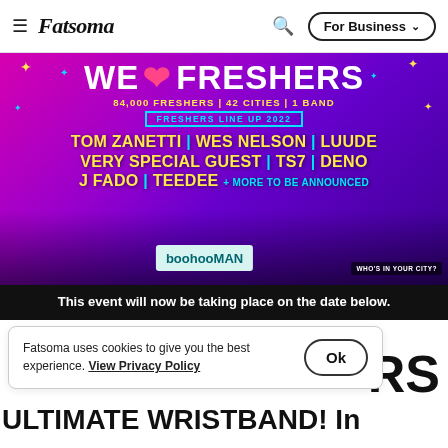≡  Fatsoma   🔍   For Business ˅
[Figure (illustration): We Love Freshers event promotional banner. Pink/purple gradient background with stars. Text: WE❤FRESHERS, 84,000 FRESHERS | 42 CITIES | 1 BAND, FRESHERS LINE UP 2022, TOM ZANETTI | WES NELSON | LUUDE, VERY SPECIAL GUEST | TS7 | DENO, J FADO | TEEDEE + MORE TO BE ANNOUNCED. Sponsored by boohooMAN. WHO'S IN YOUR CITY? badge. Photos of performers at bottom.]
This event will now be taking place on the date below.
Fatsoma uses cookies to give you the best experience. View Privacy Policy
RS
ULTIMATE WRISTBAND! In